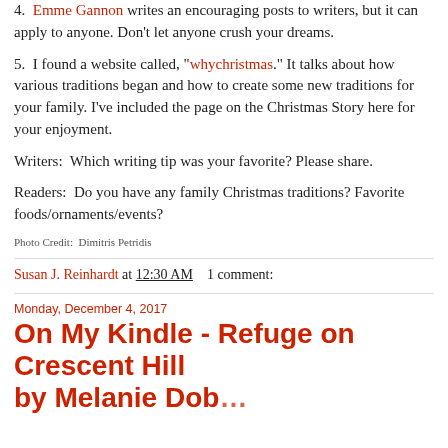4.  Emme Gannon writes an encouraging posts to writers, but it can apply to anyone. Don't let anyone crush your dreams.
5.  I found a website called, "whychristmas." It talks about how various traditions began and how to create some new traditions for your family. I've included the page on the Christmas Story here for your enjoyment.
Writers:  Which writing tip was your favorite? Please share.
Readers:  Do you have any family Christmas traditions? Favorite foods/ornaments/events?
Photo Credit:  Dimitris Petridis
Susan J. Reinhardt at 12:30 AM    1 comment:
Monday, December 4, 2017
On My Kindle - Refuge on Crescent Hill by Melanie Dobson